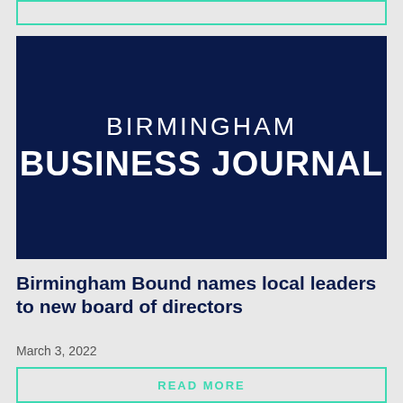[Figure (logo): Birmingham Business Journal logo — white text on dark navy blue background. Top line reads 'BIRMINGHAM' in regular weight, bottom line reads 'BUSINESS JOURNAL' in bold heavy weight.]
Birmingham Bound names local leaders to new board of directors
March 3, 2022
READ MORE